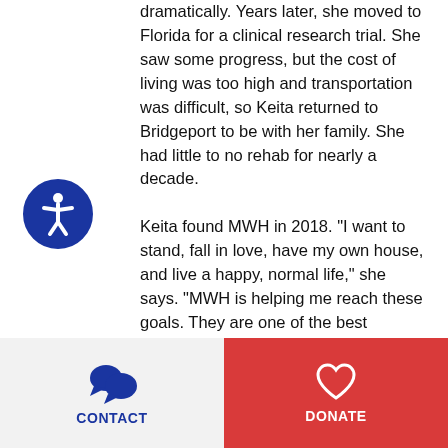dramatically. Years later, she moved to Florida for a clinical research trial. She saw some progress, but the cost of living was too high and transportation was difficult, so Keita returned to Bridgeport to be with her family. She had little to no rehab for nearly a decade.

Keita found MWH in 2018. "I want to stand, fall in love, have my own house, and live a happy, normal life," she says. "MWH is helping me reach these goals. They are one of the best nonprofits going." Learn More >>
[Figure (illustration): Blue circular accessibility icon with white figure inside]
CONTACT   DONATE